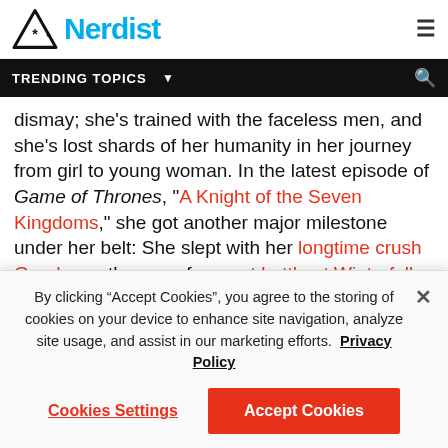[Figure (logo): Nerdist logo with triangle/asterisk icon and cyan 'Nerdist' text]
TRENDING TOPICS ▼
dismay; she's trained with the faceless men, and she's lost shards of her humanity in her journey from girl to young woman. In the latest episode of Game of Thrones, "A Knight of the Seven Kingdoms," she got another major milestone under her belt: She slept with her longtime crush Gendry on the eve of a great battle at Winterfell.
The scene immediately sparked controversy among Thrones fans. Some of that is the understandable shock
By clicking "Accept Cookies", you agree to the storing of cookies on your device to enhance site navigation, analyze site usage, and assist in our marketing efforts.  Privacy Policy
Cookies Settings | Accept Cookies